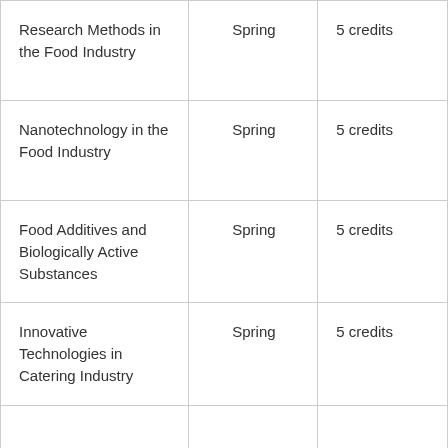| Research Methods in the Food Industry | Spring | 5 credits |
| Nanotechnology in the Food Industry | Spring | 5 credits |
| Food Additives and Biologically Active Substances | Spring | 5 credits |
| Innovative Technologies in Catering Industry | Spring | 5 credits |
|  |  |  |